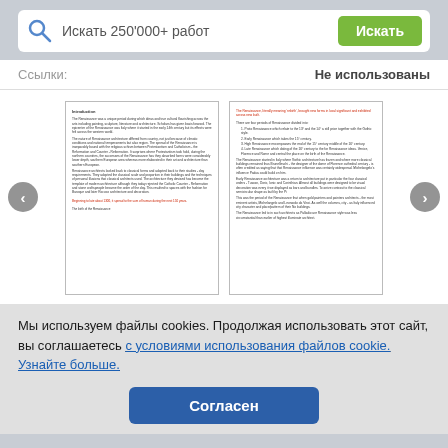[Figure (screenshot): Search bar with magnifying glass icon, text 'Искать 250'000+ работ', and green button 'Искать']
Ссылки:
Не использованы
[Figure (screenshot): Two document preview pages showing text about the Renaissance, with navigation arrows on left and right]
Мы используем файлы cookies. Продолжая использовать этот сайт, вы соглашаетесь с условиями использования файлов cookie. Узнайте больше.
Согласен